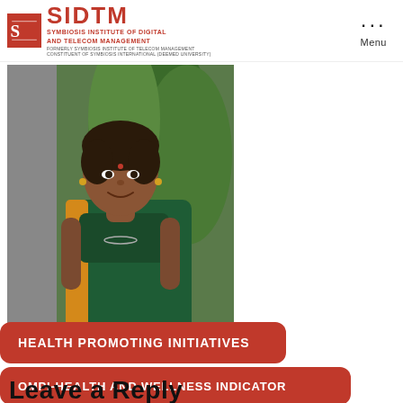SIDTM – Symbiosis Institute of Digital and Telecom Management
[Figure (photo): Portrait photo of a woman in a green and yellow saree, standing outdoors near plants]
HEALTH PROMOTING INITIATIVES
OMPI-HEALTH AND WELLNESS INDICATOR
Leave a Reply